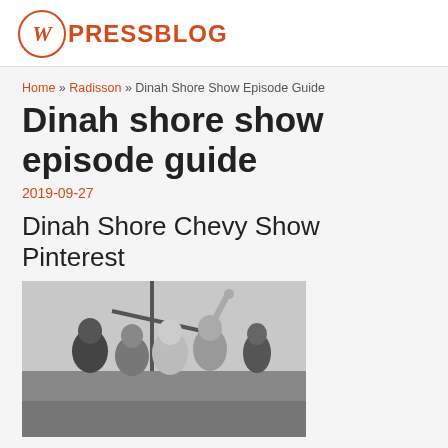WPRESSBLOG
Home » Radisson » Dinah Shore Show Episode Guide
Dinah shore show episode guide
2019-09-27
Dinah Shore Chevy Show Pinterest
[Figure (photo): Black and white photograph of four people posing together, one person raising their arm up, on what appears to be a TV show set.]